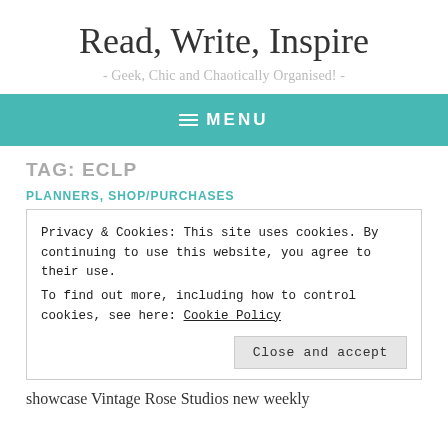Read, Write, Inspire
- Geek, Chic and Chaotically Organised! -
≡ MENU
TAG: ECLP
PLANNERS, SHOP/PURCHASES
Privacy & Cookies: This site uses cookies. By continuing to use this website, you agree to their use.
To find out more, including how to control cookies, see here: Cookie Policy
Close and accept
showcase Vintage Rose Studios new weekly